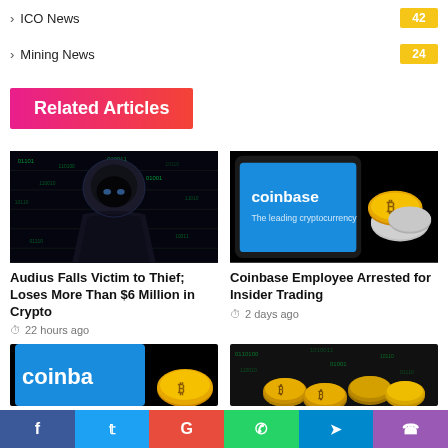> ICO News  42
> Mining News  24
Related Articles
[Figure (photo): Hooded hacker figure in dark digital background]
[Figure (photo): Coinbase logo on phone screen with gold bitcoin coins]
Audius Falls Victim to Thief; Loses More Than $6 Million in Crypto
22 hours ago
Coinbase Employee Arrested for Insider Trading
2 days ago
[Figure (photo): Coinbase logo partial view]
[Figure (photo): Pile of gold cryptocurrency coins]